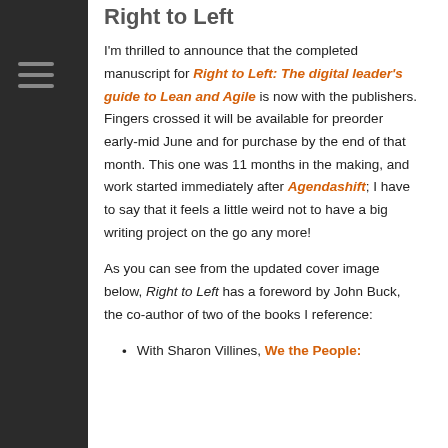Right to Left
I'm thrilled to announce that the completed manuscript for Right to Left: The digital leader's guide to Lean and Agile is now with the publishers. Fingers crossed it will be available for preorder early-mid June and for purchase by the end of that month. This one was 11 months in the making, and work started immediately after Agendashift; I have to say that it feels a little weird not to have a big writing project on the go any more!
As you can see from the updated cover image below, Right to Left has a foreword by John Buck, the co-author of two of the books I reference:
With Sharon Villines, We the People: